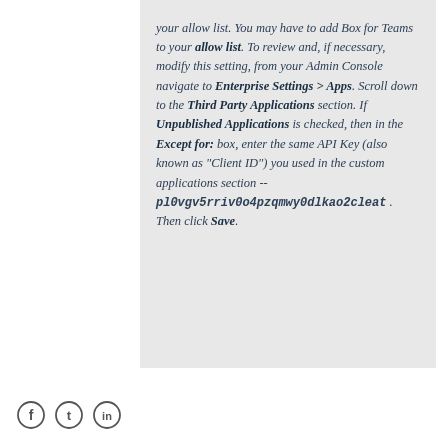your allow list. You may have to add Box for Teams to your allow list. To review and, if necessary, modify this setting, from your Admin Console navigate to Enterprise Settings > Apps. Scroll down to the Third Party Applications section. If Unpublished Applications is checked, then in the Except for: box, enter the same API Key (also known as "Client ID") you used in the custom applications section -- pl0vgv5rriv0o4pzqmwy0dlkao2cleat . Then click Save.
[facebook] [twitter] [linkedin]